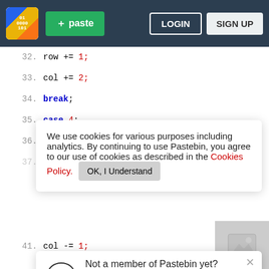[Figure (screenshot): Pastebin website header with logo, green paste button, LOGIN and SIGN UP buttons on dark navy background]
32. row += 1;
33. col += 2;
34. break;
35. case 4:
36. row += 1;
37. col -= 2;
We use cookies for various purposes including analytics. By continuing to use Pastebin, you agree to our use of cookies as described in the Cookies Policy. OK, I Understand
41. col -= 1;
Not a member of Pastebin yet? Sign Up, it unlocks many cool features!
45. col += 1;
46. break;
47. case 7:
48. row += 2;